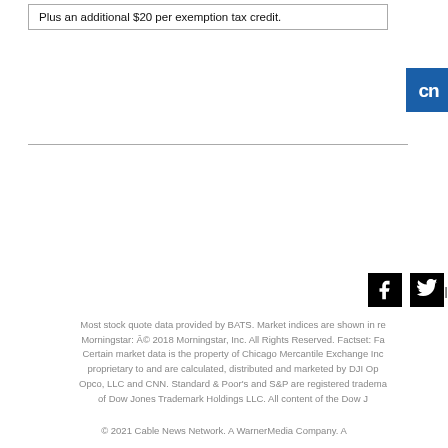Plus an additional $20 per exemption tax credit.
[Figure (logo): CNN logo - white text on blue background]
Cl
[Figure (other): Facebook and Twitter social media icons]
Most stock quote data provided by BATS. Market indices are shown in re Morningstar: Â© 2018 Morningstar, Inc. All Rights Reserved. Factset: Fa Certain market data is the property of Chicago Mercantile Exchange Inc proprietary to and are calculated, distributed and marketed by DJI Op Opco, LLC and CNN. Standard & Poor's and S&P are registered tradema of Dow Jones Trademark Holdings LLC. All content of the Dow J
© 2021 Cable News Network. A WarnerMedia Company. A